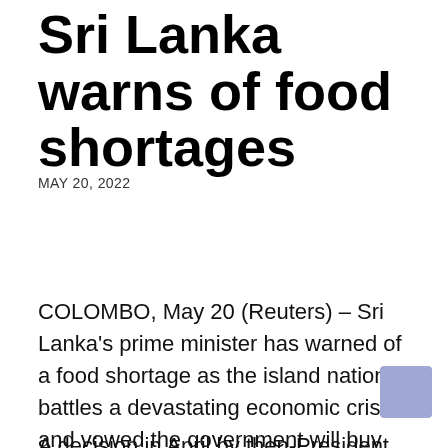Sri Lanka warns of food shortages
MAY 20, 2022
COLOMBO, May 20 (Reuters) – Sri Lanka's prime minister has warned of a food shortage as the island nation battles a devastating economic crisis and vowed the government will buy enough fertiliser for the next planting season to boost productivity.
A decision in April by then-President...